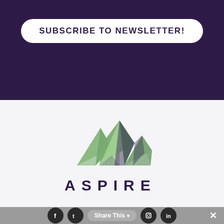SUBSCRIBE TO NEWSLETTER!
[Figure (logo): Aspire brand logo with geometric low-poly mountain shapes in green and purple tones above the word ASPIRE]
Share This [Facebook] [Twitter] [Instagram] [LinkedIn] ×